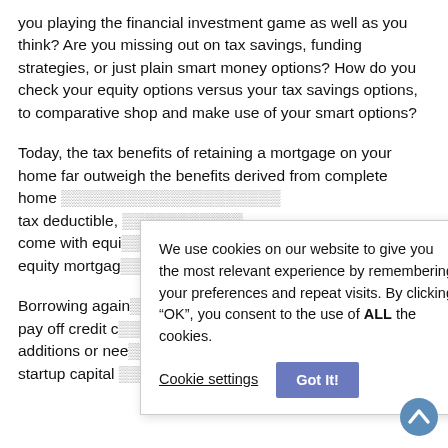you playing the financial investment game as well as you think? Are you missing out on tax savings, funding strategies, or just plain smart money options? How do you check your equity options versus your tax savings options, to comparative shop and make use of your smart options?
Today, the tax benefits of retaining a mortgage on your home far outweigh the benefits derived from complete home [obscured] tax deductible, [obscured] come with equi[ty] equity mortgag[e]
Borrowing again[st] pay off credit c[ard] additions or nee[ded] startup capital [for that dream of owning your own]
We use cookies on our website to give you the most relevant experience by remembering your preferences and repeat visits. By clicking “OK”, you consent to the use of ALL the cookies.